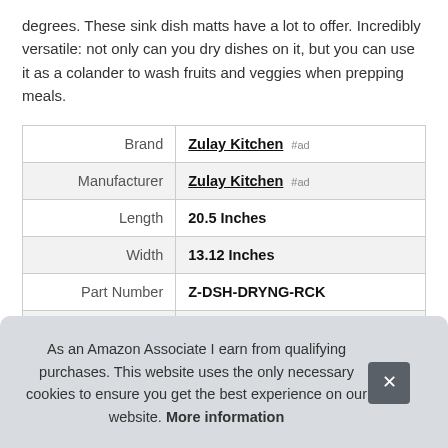degrees. These sink dish matts have a lot to offer. Incredibly versatile: not only can you dry dishes on it, but you can use it as a colander to wash fruits and veggies when prepping meals.
| Attribute | Value |
| --- | --- |
| Brand | Zulay Kitchen #ad |
| Manufacturer | Zulay Kitchen #ad |
| Length | 20.5 Inches |
| Width | 13.12 Inches |
| Part Number | Z-DSH-DRYNG-RCK |
|  |  |
As an Amazon Associate I earn from qualifying purchases. This website uses the only necessary cookies to ensure you get the best experience on our website. More information